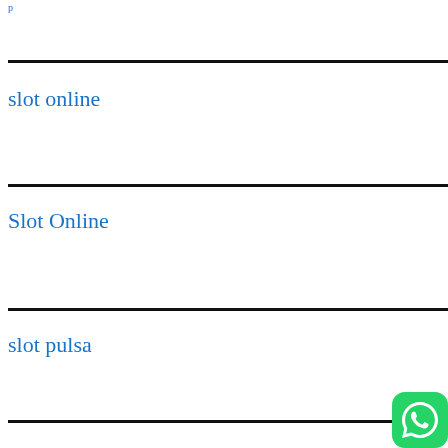slot online
Slot Online
slot pulsa
[Figure (logo): WhatsApp logo icon, green rounded square with white phone/chat bubble icon]